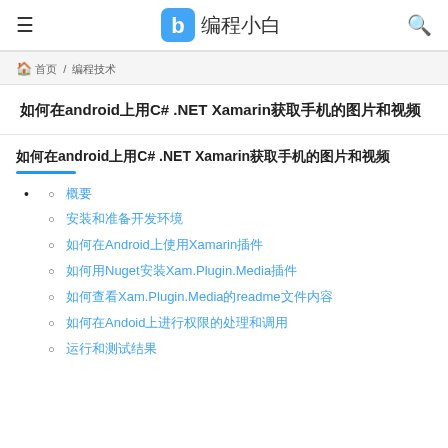≡ 编程小白 🔍
🏠 首页 / 编程技术
如何在android上用C# .NET Xamarin获取手机的图片和视频
如何在android上用C# .NET Xamarin获取手机的图片和视频
概要
安装和准备开发环境
如何在Android上使用Xamarin插件
如何用Nuget安装Xam.Plugin.Media插件
如何查看Xam.Plugin.Media的readme文件内容
如何在Andoid上进行权限的处理和调用
运行和测试结果